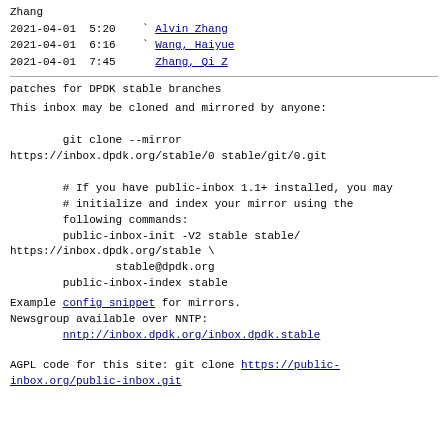Zhang
2021-04-01  5:20    ` Alvin Zhang
2021-04-01  6:16    ` Wang, Haiyue
2021-04-01  7:45      ` Zhang, Qi Z
patches for DPDK stable branches
This inbox may be cloned and mirrored by anyone:

        git clone --mirror
https://inbox.dpdk.org/stable/0 stable/git/0.git

        # If you have public-inbox 1.1+ installed, you may
        # initialize and index your mirror using the
 following commands:
        public-inbox-init -V2 stable stable/
https://inbox.dpdk.org/stable \
                stable@dpdk.org
        public-inbox-index stable

Example config snippet for mirrors.
Newsgroup available over NNTP:
        nntp://inbox.dpdk.org/inbox.dpdk.stable


AGPL code for this site: git clone https://public-inbox.org/public-inbox.git